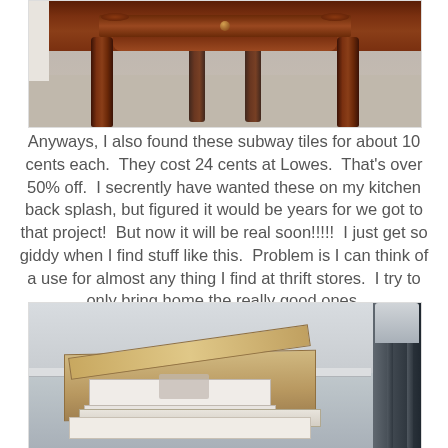[Figure (photo): Photo of a dark cherry wood side table with carved legs and a center drawer, sitting on carpet.]
Anyways, I also found these subway tiles for about 10 cents each.  They cost 24 cents at Lowes.  That's over 50% off.  I secrently have wanted these on my kitchen back splash, but figured it would be years for we got to that project!  But now it will be real soon!!!!!  I just get so giddy when I find stuff like this.  Problem is I can think of a use for almost any thing I find at thrift stores.  I try to only bring home the really good ones.
[Figure (photo): Photo of cardboard boxes of subway tiles on a floor next to a dark metal rack or stand.]